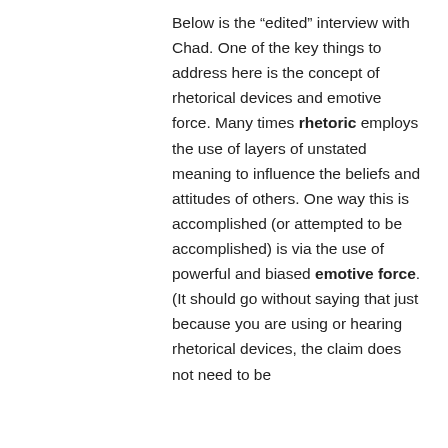Below is the “edited” interview with Chad. One of the key things to address here is the concept of rhetorical devices and emotive force. Many times rhetoric employs the use of layers of unstated meaning to influence the beliefs and attitudes of others. One way this is accomplished (or attempted to be accomplished) is via the use of powerful and biased emotive force. (It should go without saying that just because you are using or hearing rhetorical devices, the claim does not need to be